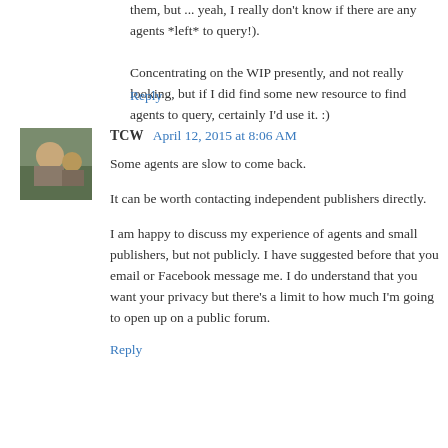them, but ... yeah, I really don't know if there are any agents *left* to query!).
Concentrating on the WIP presently, and not really looking, but if I did find some new resource to find agents to query, certainly I'd use it. :)
Reply
TCW April 12, 2015 at 8:06 AM
Some agents are slow to come back.
It can be worth contacting independent publishers directly.
I am happy to discuss my experience of agents and small publishers, but not publicly. I have suggested before that you email or Facebook message me. I do understand that you want your privacy but there's a limit to how much I'm going to open up on a public forum.
Reply